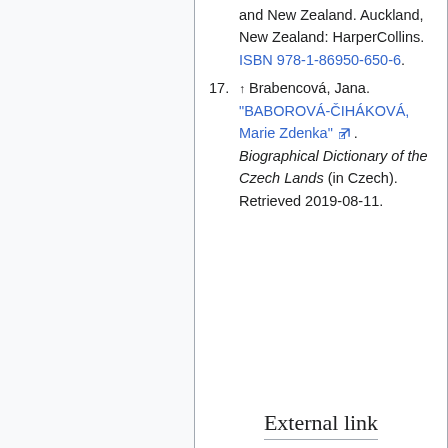and New Zealand. Auckland, New Zealand: HarperCollins. ISBN 978-1-86950-650-6.
17. ↑ Brabencová, Jana. "BABOROVÁ-ČIHÁKOVÁ, Marie Zdenka" [external link]. Biographical Dictionary of the Czech Lands (in Czech). Retrieved 2019-08-11.
External links